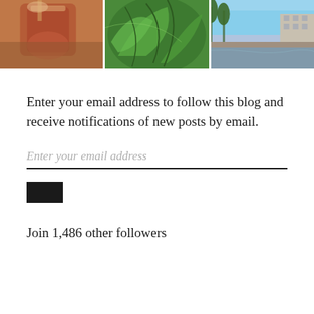[Figure (photo): Three photos side by side: a drink (iced beverage with garnish), green plant leaves, and a city bridge/river scene]
Enter your email address to follow this blog and receive notifications of new posts by email.
Enter your email address
[Figure (other): Black follow button]
Join 1,486 other followers